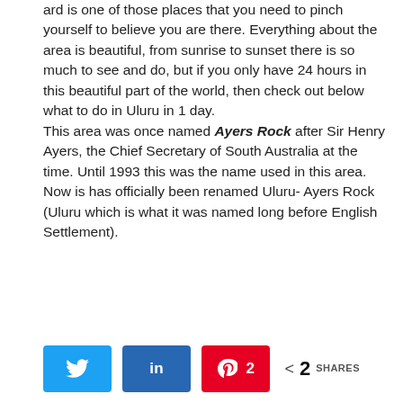…ard is one of those places that you need to pinch yourself to believe you are there. Everything about the area is beautiful, from sunrise to sunset there is so much to see and do, but if you only have 24 hours in this beautiful part of the world, then check out below what to do in Uluru in 1 day.
This area was once named Ayers Rock after Sir Henry Ayers, the Chief Secretary of South Australia at the time. Until 1993 this was the name used in this area. Now is has officially been renamed Uluru- Ayers Rock (Uluru which is what it was named long before English Settlement).
Twitter share | LinkedIn share | Pinterest 2 shares | < 2 SHARES